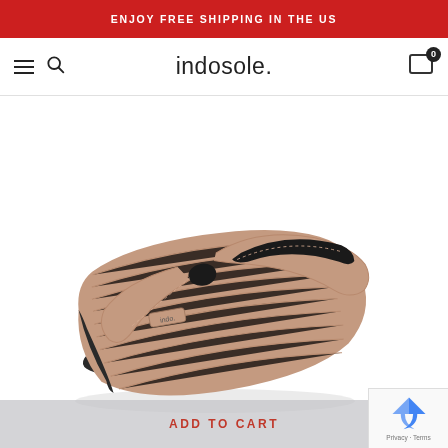ENJOY FREE SHIPPING IN THE US
indosole.
[Figure (photo): A single tan/rose-gold flip flop sandal with ribbed sole and black toe thong post, displayed at an angle against white background. The strap has a small 'indo' brand label.]
ADD TO CART